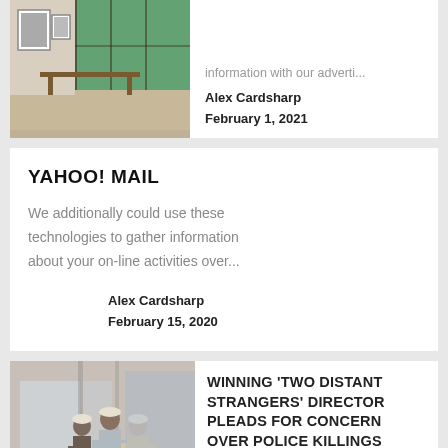[Figure (photo): Interior room with framed pictures, a table, and a window with green trees outside]
information with our adverti...
Alex Cardsharp
February 1, 2021
YAHOO! MAIL
We additionally could use these technologies to gather information about your on-line activities over...
Alex Cardsharp
February 15, 2020
[Figure (photo): Three people in hard hats standing in a modern glass building interior, appears to be a construction or architecture meeting]
WINNING 'TWO DISTANT STRANGERS' DIRECTOR PLEADS FOR CONCERN OVER POLICE KILLINGS
eighty five per cent of customers surveyed in 2018 have been with the services supplied by thei...